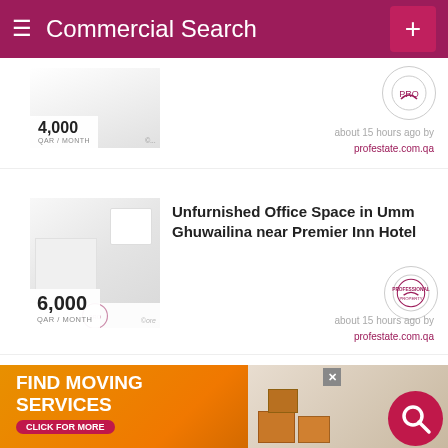Commercial Search
[Figure (screenshot): Partial listing card with price 4,000 QAR/MONTH and logo]
about 15 hours ago by profestate.com.qa
OFFICE SPACE, UMM GHWAILINA
Unfurnished Office Space in Umm Ghuwailina near Premier Inn Hotel
6,000 QAR / MONTH
about 15 hours ago by profestate.com.qa
OFFICE SPACE, AL SADD
Office Space in Al Sadd | 120 SQM | near Hamad Hospital
8,500 QAR / MONTH
about 15 hours ago by profestate.com.qa
[Figure (infographic): Find Moving Services advertisement banner with orange background and click for more button]